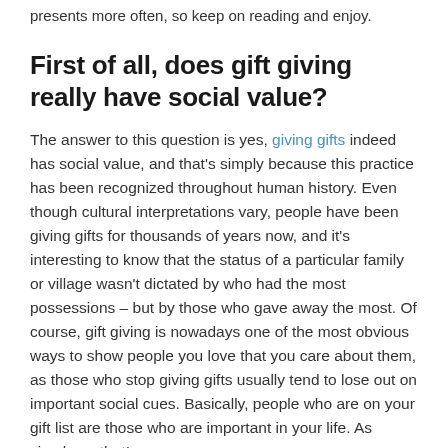presents more often, so keep on reading and enjoy.
First of all, does gift giving really have social value?
The answer to this question is yes, giving gifts indeed has social value, and that's simply because this practice has been recognized throughout human history. Even though cultural interpretations vary, people have been giving gifts for thousands of years now, and it's interesting to know that the status of a particular family or village wasn't dictated by who had the most possessions – but by those who gave away the most. Of course, gift giving is nowadays one of the most obvious ways to show people you love that you care about them, as those who stop giving gifts usually tend to lose out on important social cues. Basically, people who are on your gift list are those who are important in your life. As simple as that!